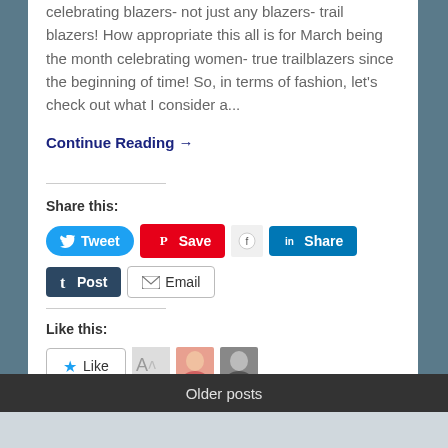celebrating blazers- not just any blazers- trail blazers! How appropriate this all is for March being the month celebrating women- true trailblazers since the beginning of time! So, in terms of fashion, let's check out what I consider a...
Continue Reading →
Share this:
Like this:
3 bloggers like this.
Older posts